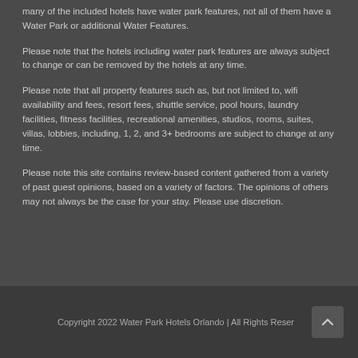many of the included hotels have water park features, not all of them have a Water Park or additional Water Features.
Please note that the hotels including water park features are always subject to change or can be removed by the hotels at any time.
Please note that all property features such as, but not limited to, wifi availability and fees, resort fees, shuttle service, pool hours, laundry facilities, fitness facilities, recreational amenities, studios, rooms, suites, villas, lobbies, including, 1, 2, and 3+ bedrooms are subject to change at any time.
Please note this site contains review-based content gathered from a variety of past guest opinions, based on a variety of factors. The opinions of others may not always be the case for your stay. Please use discretion.
Copyright 2022 Water Park Hotels Orlando | All Rights Reser